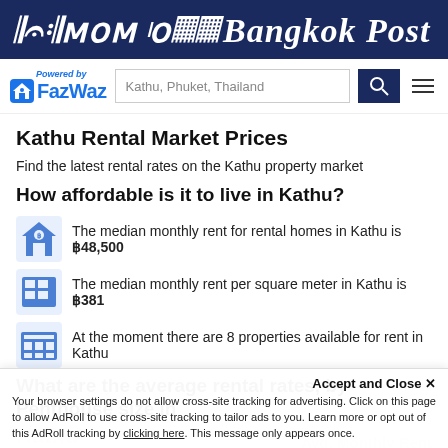Bangkok Post
[Figure (logo): Bangkok Post logo with FazWaz powered-by branding, search bar with 'Kathu, Phuket, Thailand', search button and hamburger menu]
Kathu Rental Market Prices
Find the latest rental rates on the Kathu property market
How affordable is it to live in Kathu?
The median monthly rent for rental homes in Kathu is ฿48,500
The median monthly rent per square meter in Kathu is ฿381
At the moment there are 8 properties available for rent in Kathu
What are the average rental rates, by Penthouse size in
Kathu
Accept and Close ✕
Your browser settings do not allow cross-site tracking for advertising. Click on this page to allow AdRoll to use cross-site tracking to tailor ads to you. Learn more or opt out of this AdRoll tracking by clicking here. This message only appears once.